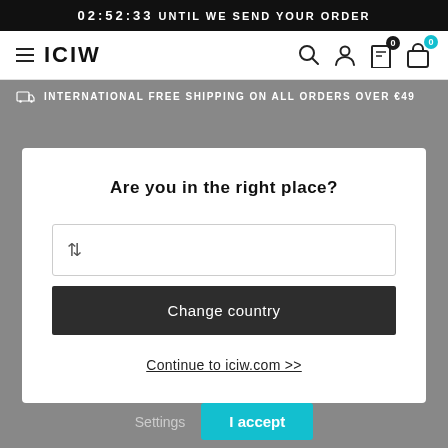02:52:33 UNTIL WE SEND YOUR ORDER
[Figure (screenshot): ICIW brand navigation bar with hamburger menu, brand logo, search, account, wishlist (0), and bag (0) icons]
INTERNATIONAL FREE SHIPPING ON ALL ORDERS OVER €49
Are you in the right place?
⇅ (country dropdown selector)
Change country
Continue to iciw.com >>
settings at any time.
Settings
I accept